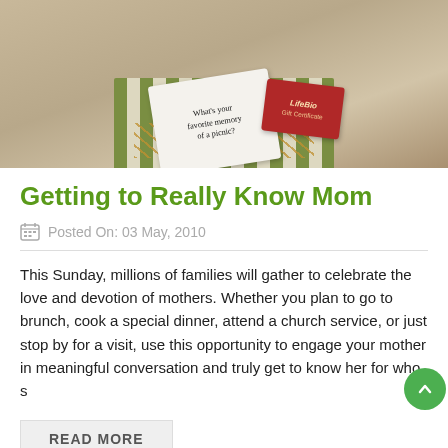[Figure (photo): A gift box with olive-green and cream vertical stripes, containing shredded paper filler, a white card reading 'What's your favorite memory of a picnic?', and a red gift certificate card.]
Getting to Really Know Mom
Posted On: 03 May, 2010
This Sunday, millions of families will gather to celebrate the love and devotion of mothers. Whether you plan to go to brunch, cook a special dinner, attend a church service, or just stop by for a visit, use this opportunity to engage your mother in meaningful conversation and truly get to know her for who s
READ MORE